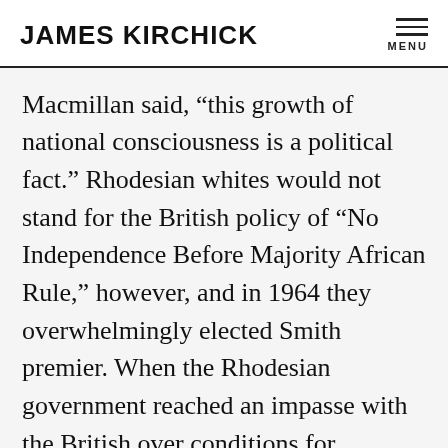JAMES KIRCHICK
Macmillan said, “this growth of national consciousness is a political fact.” Rhodesian whites would not stand for the British policy of “No Independence Before Majority African Rule,” however, and in 1964 they overwhelmingly elected Smith premier. When the Rhodesian government reached an impasse with the British over conditions for autonomy, Smith, widely supported by the country’s whites